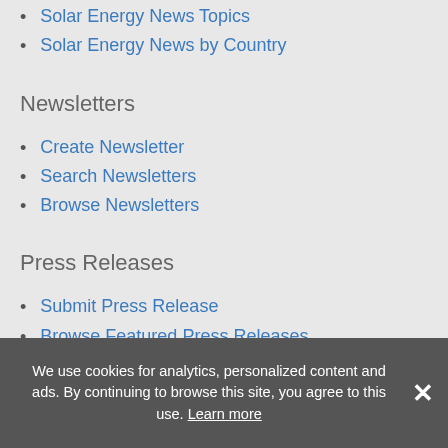Solar Energy News Topics
Solar Energy News by Country
Newsletters
Create Newsletter
Search Newsletters
Browse Newsletters
Press Releases
Submit Press Release
Browse Featured Press Releases
Browse All Press Releases
Market Research Reports
We use cookies for analytics, personalized content and ads. By continuing to browse this site, you agree to this use. Learn more